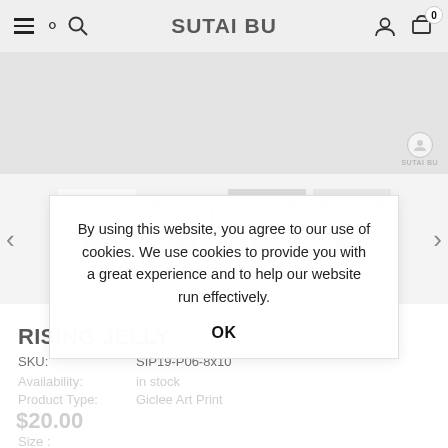SUTAI BU
[Figure (photo): Product hero image area with SUTAI BU watermark logo]
[Figure (photo): Carousel of 4 product thumbnail images showing Rising Jelly art print in various frames (white and gold), each with a circular watercolor jellyfish motif in purple/teal tones]
RISING JELLY
SKU:   SIP19-P06-8x10
Availability:   in stock
Product Type:   Giclee Art Print
$20.00
Size :
By using this website, you agree to our use of cookies. We use cookies to provide you with a great experience and to help our website run effectively.
OK